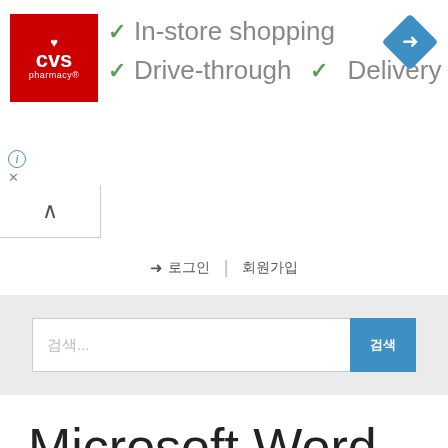[Figure (screenshot): CVS Pharmacy advertisement banner showing logo, checkmarks for In-store shopping, Drive-through, and Delivery options, plus a blue navigation diamond icon]
[Figure (screenshot): Web interface showing a collapse tab with caret up, login/register row with Korean text, and a search bar with Korean placeholder text and blue search button]
Microsoft Word
（ ).doc